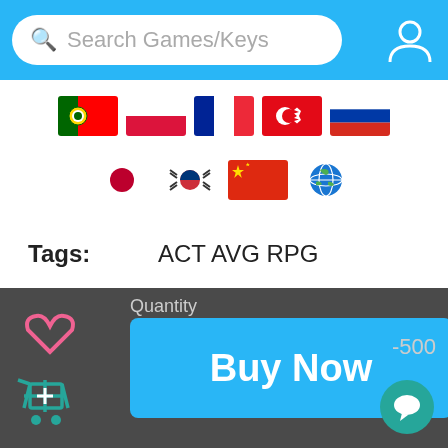Search Games/Keys
[Figure (illustration): Row of country flags: Portugal, Poland, France, Turkey, Russia]
[Figure (illustration): Row of country flags: Japan, South Korea, China, Globe/World]
Tags: ACT AVG RPG
Stock: In Stock
Quantity
Buy Now
-500